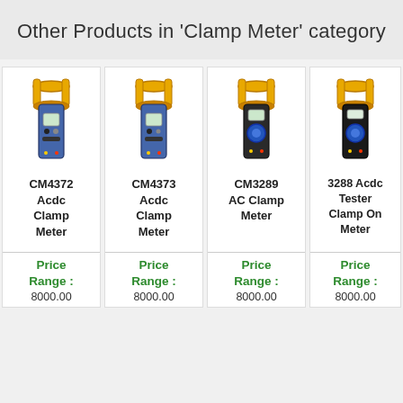Other Products in 'Clamp Meter' category
[Figure (photo): CM4372 Acdc Clamp Meter product image — clamp meter with yellow jaw, blue body, digital display]
CM4372
Acdc
Clamp
Meter
Price
Range :
8000.00
[Figure (photo): CM4373 Acdc Clamp Meter product image — clamp meter with yellow jaw, blue body, digital display]
CM4373
Acdc
Clamp
Meter
Price
Range :
8000.00
[Figure (photo): CM3289 AC Clamp Meter product image — clamp meter with yellow jaw, dark body, round selector knob]
CM3289
AC Clamp
Meter
Price
Range :
8000.00
[Figure (photo): 3288 Acdc Tester Clamp On Meter product image — clamp meter with yellow jaw, dark body, round selector knob]
3288 Acdc
Tester
Clamp On
Meter
Price
Range :
8000.00